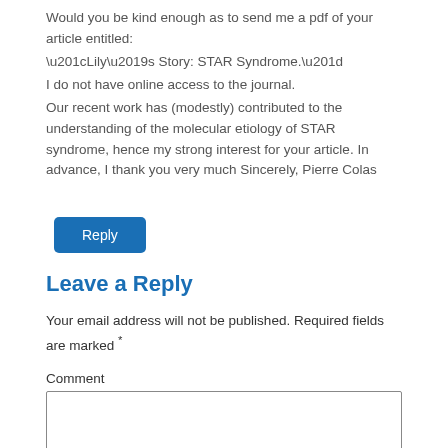Would you be kind enough as to send me a pdf of your article entitled:
“Lily’s Story: STAR Syndrome.”
I do not have online access to the journal.
Our recent work has (modestly) contributed to the understanding of the molecular etiology of STAR syndrome, hence my strong interest for your article. In advance, I thank you very much Sincerely, Pierre Colas
Reply
Leave a Reply
Your email address will not be published. Required fields are marked *
Comment